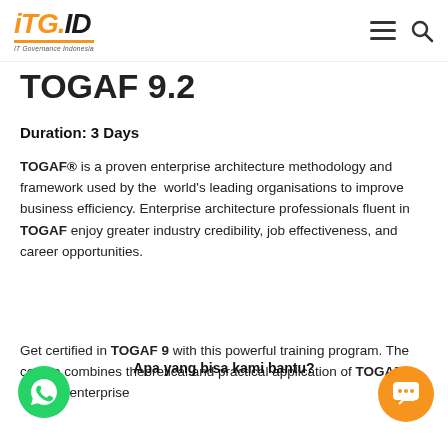[Figure (logo): ITG.ID logo - IT Governance Indonesia, orange and dark italic text with orange underline]
TOGAF 9.2
Duration: 3 Days
TOGAF® is a proven enterprise architecture methodology and framework used by the world's leading organisations to improve business efficiency. Enterprise architecture professionals fluent in TOGAF enjoy greater industry credibility, job effectiveness, and career opportunities.
Get certified in TOGAF 9 with this powerful training program. The course combines theoretical and practical application of TOGAF in realistic enterprise